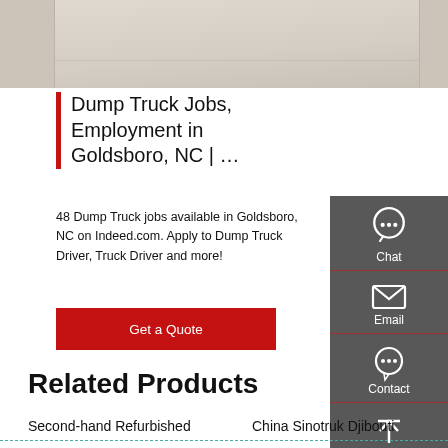[Figure (photo): Top portion of a webpage showing a light beige/cream colored background, partial view of what appears to be a truck or vehicle surface.]
Dump Truck Jobs, Employment in Goldsboro, NC | …
48 Dump Truck jobs available in Goldsboro, NC on Indeed.com. Apply to Dump Truck Driver, Truck Driver and more!
[Figure (screenshot): Right sidebar with dark gray background showing four icons: Chat (headset icon), Email (envelope icon), Contact (speech bubble with dots icon), Top (arrow up icon). Each section separated by a red/dark red line.]
Get a Quote
Related Products
Second-hand Refurbished
China Sinotruk Djibouti
Used Cheap HOWO 6 4 10
Montgomery County Bank